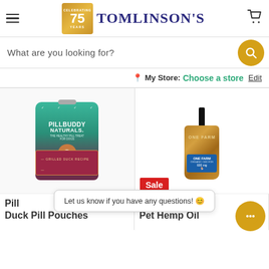[Figure (screenshot): Tomlinson's pet store website header with hamburger menu, 75th anniversary badge logo, Tomlinson's brand name, and cart icon]
What are you looking for?
My Store: Choose a store Edit
[Figure (photo): PillBuddy Naturals Grilled Duck Recipe dog treat bag]
[Figure (photo): One Farm Organic CBD Pet Hemp Oil bottle with dropper, 600mg, Sale badge]
Pill... Duck Pill Pouches
...ic Pet Hemp Oil
Let us know if you have any questions! 😊